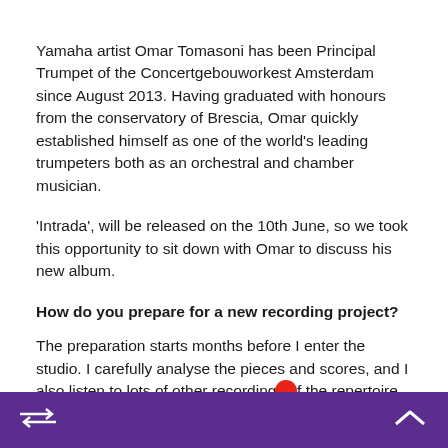Yamaha artist Omar Tomasoni has been Principal Trumpet of the Concertgebouworkest Amsterdam since August 2013. Having graduated with honours from the conservatory of Brescia, Omar quickly established himself as one of the world's leading trumpeters both as an orchestral and chamber musician.
'Intrada', will be released on the 10th June, so we took this opportunity to sit down with Omar to discuss his new album.
How do you prepare for a new recording project?
The preparation starts months before I enter the studio. I carefully analyse the pieces and scores, and I also listen to lots of other recordings of the repertoire. With the trumpet, I focus more on flexibility, agility, and articulation than I normally would for orchestral playing.
What's it like at the very beginning when that recording light comes on and you have to start?